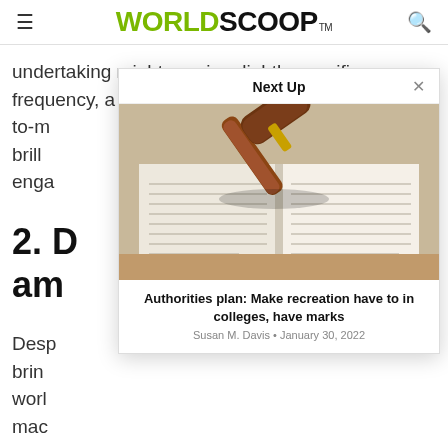WORLDSCOOP™
undertaking might require slightly specific frequency, a try to have as a minimum month-to-m brill enga
2. D am
Desp brin worl mac necc
[Figure (other): Next Up modal popup showing a gavel resting on an open book/legal text, with article title 'Authorities plan: Make recreation have to in colleges, have marks' by Susan M. Davis, January 30, 2022]